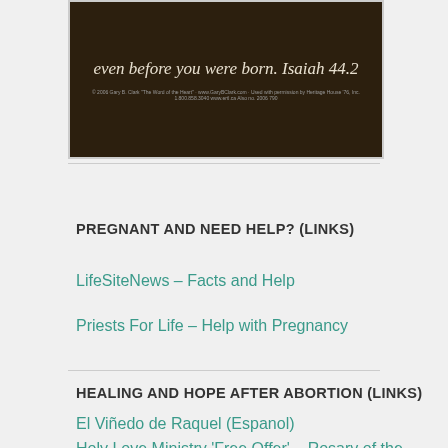[Figure (illustration): Dark brown decorative image with italic script text reading 'even before you were born. Isaiah 44.2' with a small copyright caption below]
PREGNANT AND NEED HELP? (LINKS)
LifeSiteNews – Facts and Help
Priests For Life – Help with Pregnancy
HEALING AND HOPE AFTER ABORTION (LINKS)
El Viñedo de Raquel (Espanol)
Holy Love Ministry 'Free Offer' – Rosary of the Unborn